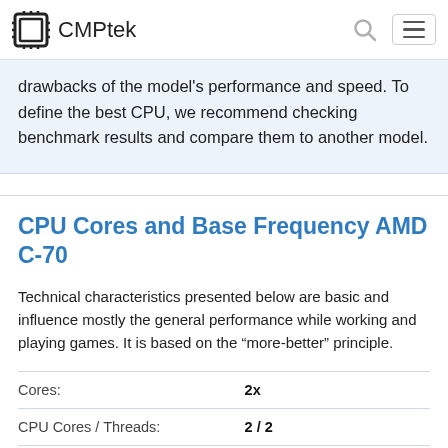CMPtek
drawbacks of the model's performance and speed. To define the best CPU, we recommend checking benchmark results and compare them to another model.
CPU Cores and Base Frequency AMD C-70
Technical characteristics presented below are basic and influence mostly the general performance while working and playing games. It is based on the “more-better” principle.
|  |  |
| --- | --- |
| Cores: | 2x |
| CPU Cores / Threads: | 2 / 2 |
| Core architecture: | normal |
| Hyperthreading: | No |